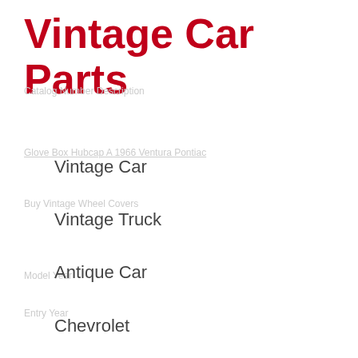Vintage Car Parts
Vintage Car
Vintage Truck
Antique Car
Chevrolet
Ford
Rolls Royce
Goodyear
Antique Car Wheels
Vintage Hubcaps Dodge
Vintage Lmc Car Parts Catalogs